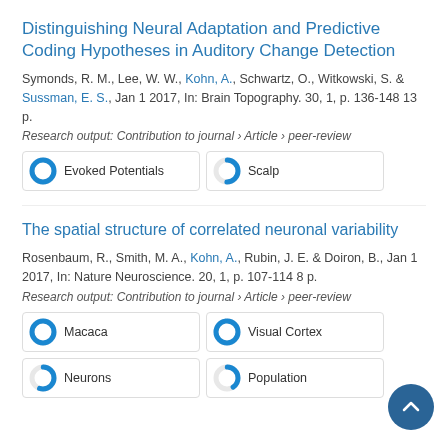Distinguishing Neural Adaptation and Predictive Coding Hypotheses in Auditory Change Detection
Symonds, R. M., Lee, W. W., Kohn, A., Schwartz, O., Witkowski, S. & Sussman, E. S., Jan 1 2017, In: Brain Topography. 30, 1, p. 136-148 13 p.
Research output: Contribution to journal › Article › peer-review
[Figure (infographic): Two keyword badges: 'Evoked Potentials' with ~100% filled blue donut and 'Scalp' with ~50% filled blue donut]
The spatial structure of correlated neuronal variability
Rosenbaum, R., Smith, M. A., Kohn, A., Rubin, J. E. & Doiron, B., Jan 1 2017, In: Nature Neuroscience. 20, 1, p. 107-114 8 p.
Research output: Contribution to journal › Article › peer-review
[Figure (infographic): Four keyword badges: 'Macaca' with ~100% filled blue donut, 'Visual Cortex' with ~97% filled blue donut, 'Neurons' with ~55% filled blue donut, 'Population' with ~40% filled blue donut]